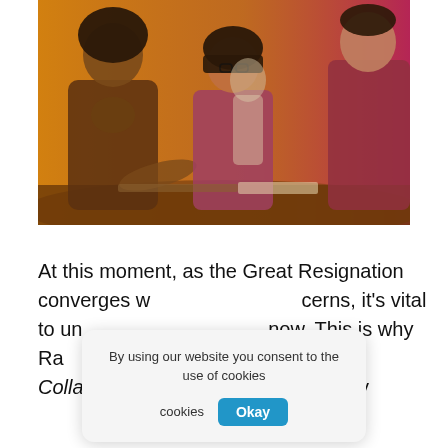[Figure (photo): Photo of three people at a work table, tinted with a gradient from orange/yellow on the left to magenta/pink on the right. A woman with natural hair leans over the table on the left, a woman with glasses and a bob haircut sits in the center, and a man is partially visible on the right. A fourth person is visible in the background.]
At this moment, as the Great Resignation converges w[ith other con]cerns, it's vital to un[derstand what employees need right] now. This is why Ral[eigh & Company launched o]ur Inclusive Collaboration at Work study, a survey